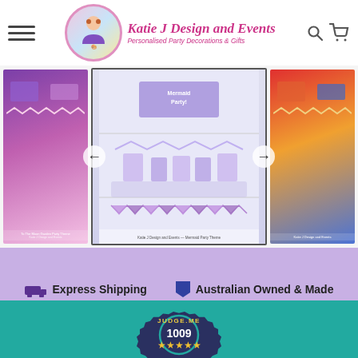Katie J Design and Events — Personalised Party Decorations & Gifts
[Figure (screenshot): Product image carousel showing three party decoration theme images with left and right navigation arrows]
Express Shipping
Australian Owned & Made
High-Quality Professional Print
[Figure (logo): Judge.me badge showing 1009 verified reviews with 5 star rating]